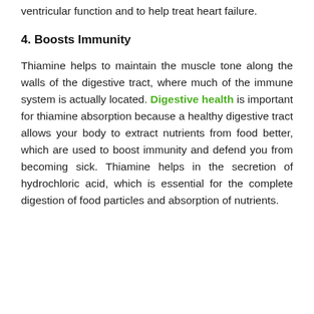ventricular function and to help treat heart failure.
4. Boosts Immunity
Thiamine helps to maintain the muscle tone along the walls of the digestive tract, where much of the immune system is actually located. Digestive health is important for thiamine absorption because a healthy digestive tract allows your body to extract nutrients from food better, which are used to boost immunity and defend you from becoming sick. Thiamine helps in the secretion of hydrochloric acid, which is essential for the complete digestion of food particles and absorption of nutrients.